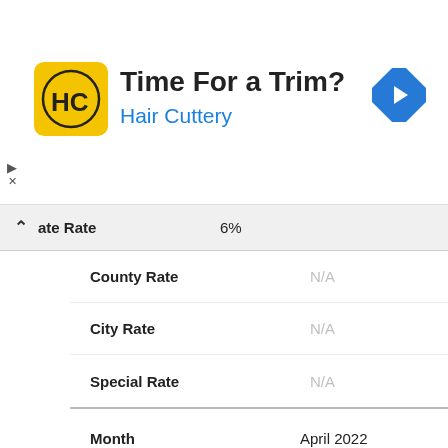[Figure (other): Hair Cuttery advertisement banner with logo, 'Time For a Trim?' headline, and navigation icon]
| Field | Value |
| --- | --- |
| ate Rate | 6% |
| County Rate | N/A |
| City Rate | N/A |
| Special Rate | N/A |
| Month | April 2022 |
| Combined Rate | 6% |
| State Rate | 6% |
| County Rate | N/A |
| City Rate | N/A |